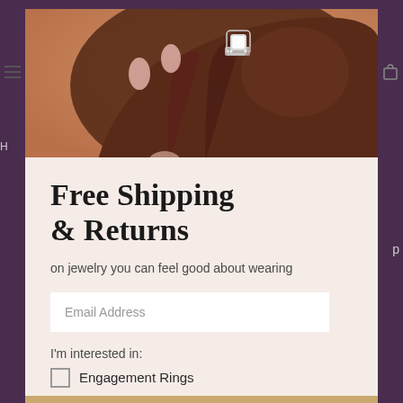[Figure (photo): Close-up photo of a dark-skinned hand wearing a diamond halo engagement ring against a terracotta/orange background]
Free Shipping & Returns
on jewelry you can feel good about wearing
Email Address
I'm interested in:
Engagement Rings